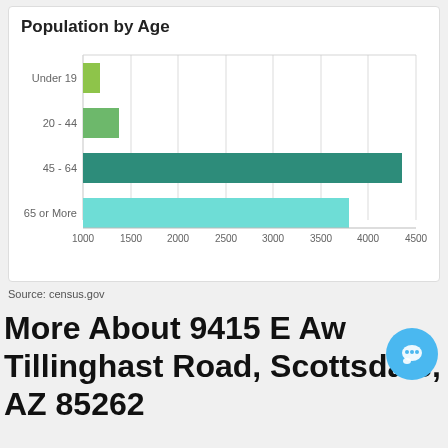[Figure (bar-chart): Population by Age]
Source: census.gov
More About 9415 E Aw Tillinghast Road, Scottsdale, AZ 85262